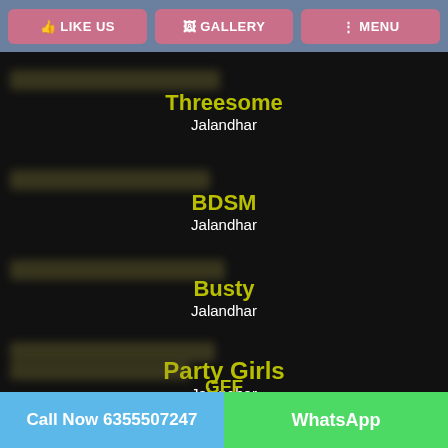[Figure (screenshot): Mobile app navigation bar with LIKE US, GALLERY, and MENU buttons on a steel blue background]
Threesome
Jalandhar
BDSM
Jalandhar
Busty
Jalandhar
Party Girls
Jalandhar
Call Now 6355507247
WhatsApp